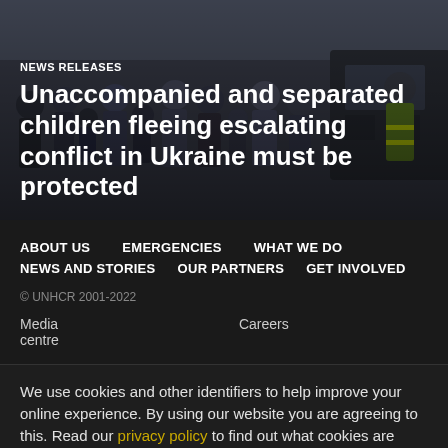[Figure (photo): Crowd of people including children, bundled in winter clothing, standing near a vehicle. Scene appears to be refugees fleeing conflict.]
NEWS RELEASES
Unaccompanied and separated children fleeing escalating conflict in Ukraine must be protected
ABOUT US
EMERGENCIES
WHAT WE DO
NEWS AND STORIES
OUR PARTNERS
GET INVOLVED
© UNHCR 2001-2022
Media centre
Careers
We use cookies and other identifiers to help improve your online experience. By using our website you are agreeing to this. Read our privacy policy to find out what cookies are used for and how to change your settings.
Accept and Close ✕
Your browser settings do not allow cross-site tracking for advertising. Click on this page to allow AdRoll to use cross-site tracking to tailor ads to you. Learn more or opt out of this AdRoll tracking by clicking here. This message only appears once.